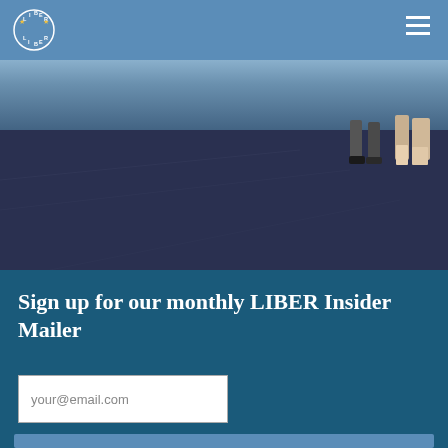LIBER LIBER logo and navigation
[Figure (photo): Outdoor scene with dark asphalt pavement/crowd area with people's legs visible in the upper right corner]
Sign up for our monthly LIBER Insider Mailer
your@email.com